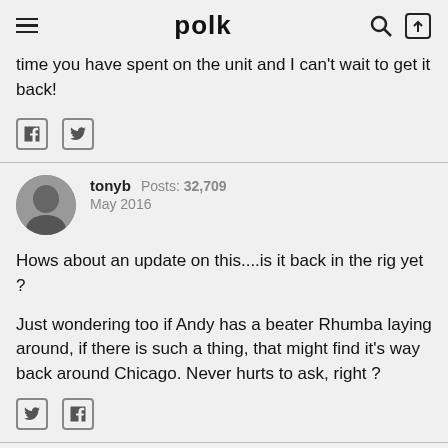polk
time you have spent on the unit and I can't wait to get it back!
tonyb  Posts: 32,709  May 2016
Hows about an update on this....is it back in the rig yet ?
Just wondering too if Andy has a beater Rhumba laying around, if there is such a thing, that might find it's way back around Chicago. Never hurts to ask, right ?
BackertLabs  Posts: 117